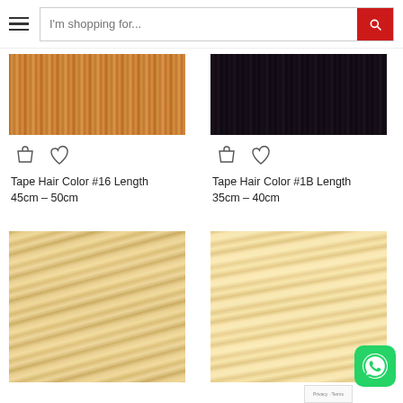I'm shopping for...
[Figure (photo): Close-up of golden/auburn tape hair extension color #16]
[Figure (photo): Close-up of dark black tape hair extension color #1B]
Tape Hair Color #16 Length 45cm – 50cm
Tape Hair Color #1B Length 35cm – 40cm
[Figure (photo): Close-up of blonde wavy tape hair extension]
[Figure (photo): Close-up of light blonde wavy tape hair extension]